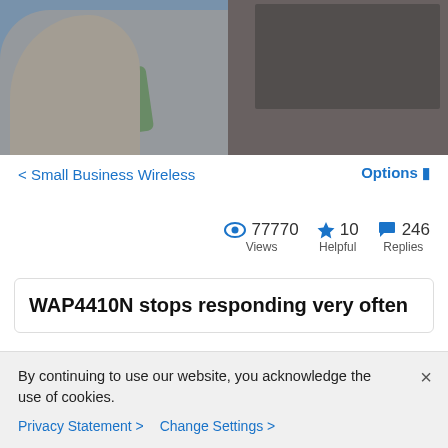[Figure (photo): Hero banner photo showing two people sitting on a blue-grey couch, one holding a laptop, with a green pillow between them. Image has a blue-tinted overlay.]
< Small Business Wireless
Options !
77770 Views   10 Helpful   246 Replies
WAP4410N stops responding very often
By continuing to use our website, you acknowledge the use of cookies.
Privacy Statement >   Change Settings >